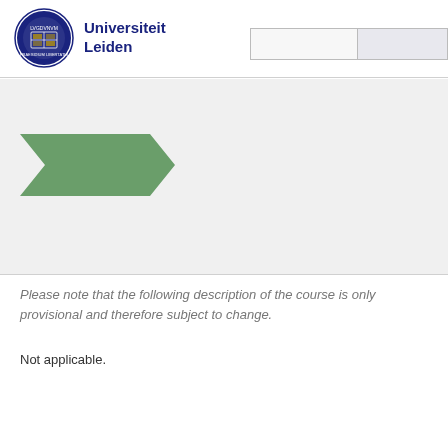Universiteit Leiden
[Figure (logo): Universiteit Leiden seal logo with blue circular crest and text 'Universiteit Leiden']
[Figure (illustration): Green arrow/chevron shape pointing right in a light grey banner area]
Please note that the following description of the course is only provisional and therefore subject to change.
Not applicable.